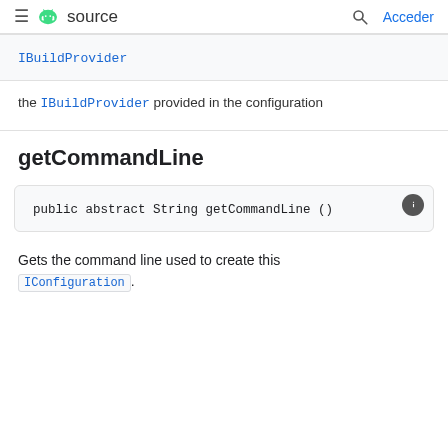≡ android source | Q Acceder
| IBuildProvider |
| --- |
the IBuildProvider provided in the configuration
getCommandLine
public abstract String getCommandLine ()
Gets the command line used to create this IConfiguration.